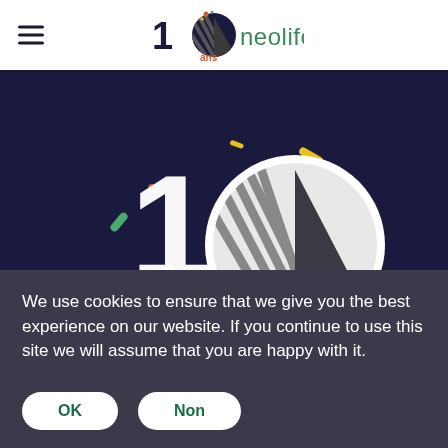10 ans neolife
[Figure (logo): Neolife 10 ans anniversary logo with hamburger menu icon in header]
[Figure (illustration): Dark navy hero banner with large '10 ans' anniversary illustration showing a circle with house/building logo, confetti dashes in green, yellow, and red on dark navy background]
We use cookies to ensure that we give you the best experience on our website. If you continue to use this site we will assume that you are happy with it.
OK
Non